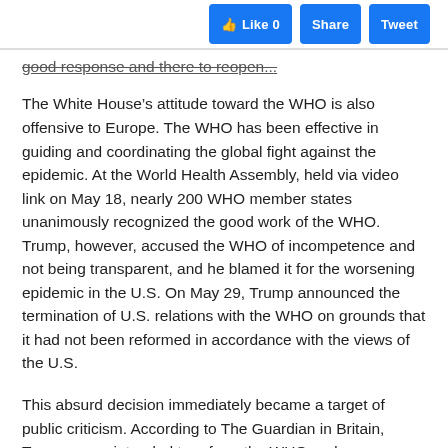Like 0 | Share | Tweet
good response and there to reopen...
The White House’s attitude toward the WHO is also offensive to Europe. The WHO has been effective in guiding and coordinating the global fight against the epidemic. At the World Health Assembly, held via video link on May 18, nearly 200 WHO member states unanimously recognized the good work of the WHO. Trump, however, accused the WHO of incompetence and not being transparent, and he blamed it for the worsening epidemic in the U.S. On May 29, Trump announced the termination of U.S. relations with the WHO on grounds that it had not been reformed in accordance with the views of the U.S.
This absurd decision immediately became a target of public criticism. According to The Guardian in Britain, Trump never intended to reform the WHO and never engaged in dialogue with it. He wanted to withdraw the U.S. from the organization for political reasons as he sought to deflect blame for the